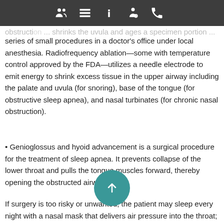[navigation icons: people, list, info, doctor, phone]
series of small procedures in a doctor's office under local anesthesia. Radiofrequency ablation—some with temperature control approved by the FDA—utilizes a needle electrode to emit energy to shrink excess tissue in the upper airway including the palate and uvula (for snoring), base of the tongue (for obstructive sleep apnea), and nasal turbinates (for chronic nasal obstruction).
• Genioglossus and hyoid advancement is a surgical procedure for the treatment of sleep apnea. It prevents collapse of the lower throat and pulls the tongue muscles forward, thereby opening the obstructed airway.
If surgery is too risky or unwanted, the patient may sleep every night with a nasal mask that delivers air pressure into the throat; this is called continuous positive airway pressure or